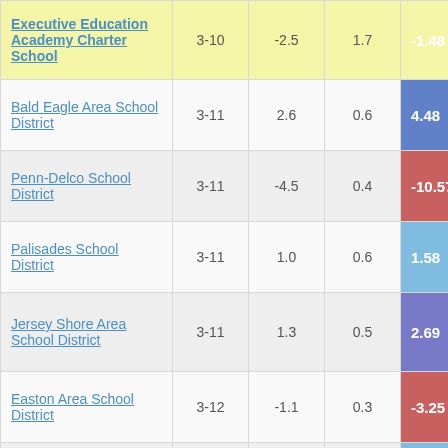| Executive Education Academy Charter School | 3-10 | -2.5 | 1.7 | -1.48 |
| Bald Eagle Area School District | 3-11 | 2.6 | 0.6 | 4.48 |
| Penn-Delco School District | 3-11 | -4.5 | 0.4 | -10.57 |
| Palisades School District | 3-11 | 1.0 | 0.6 | 1.58 |
| Jersey Shore Area School District | 3-11 | 1.3 | 0.5 | 2.69 |
| Easton Area School District | 3-12 | -1.1 | 0.3 | -3.25 |
| Montgomery Area School District | 3-11 | 0.8 | 0.8 | 1.00 |